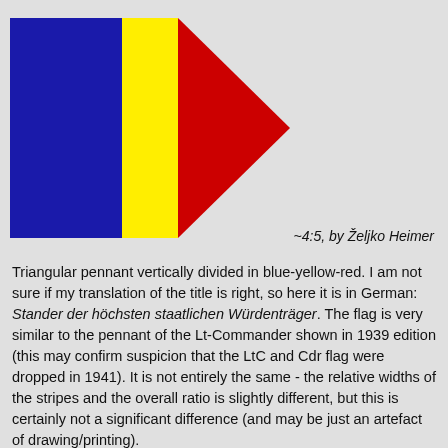[Figure (illustration): Triangular pennant flag divided vertically into three sections: blue on the left (rectangular), yellow in the middle (rectangular), and red forming a triangle pointing right.]
~4:5, by Željko Heimer
Triangular pennant vertically divided in blue-yellow-red. I am not sure if my translation of the title is right, so here it is in German: Stander der höchsten staatlichen Würdenträger. The flag is very similar to the pennant of the Lt-Commander shown in 1939 edition (this may confirm suspicion that the LtC and Cdr flag were dropped in 1941). It is not entirely the same - the relative widths of the stripes and the overall ratio is slightly different, but this is certainly not a significant difference (and may be just an artefact of drawing/printing). Željko Heimer, 27 December 2002